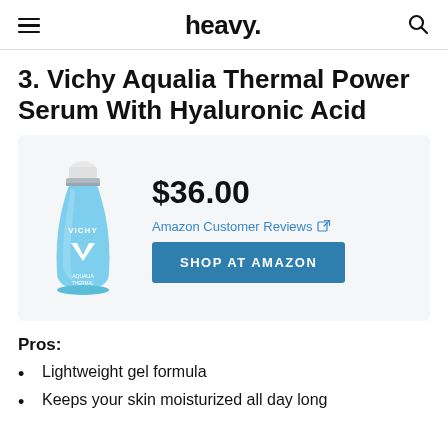heavy.
3. Vichy Aqualia Thermal Power Serum With Hyaluronic Acid
[Figure (photo): Vichy Aqualia Thermal Power Serum blue bottle product photo with price $36.00, Amazon Customer Reviews link, and Shop at Amazon button]
Pros:
Lightweight gel formula
Keeps your skin moisturized all day long